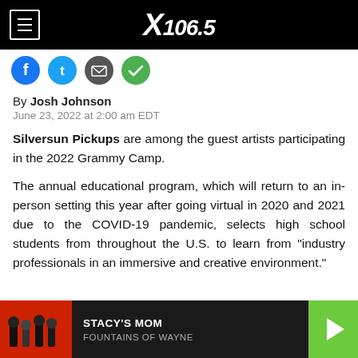X 106.5
[Figure (screenshot): Social share icons: Facebook (blue), Twitter (light blue), Email (gray), SMS/WhatsApp (green)]
By Josh Johnson
June 23, 2022 at 2:00 am EDT
Silversun Pickups are among the guest artists participating in the 2022 Grammy Camp.
The annual educational program, which will return to an in-person setting this year after going virtual in 2020 and 2021 due to the COVID-19 pandemic, selects high school students from throughout the U.S. to learn from "industry professionals in an immersive and creative environment."
[Figure (screenshot): Now playing bar showing Fountains of Wayne - Stacy's Mom with album art on red background and green play button]